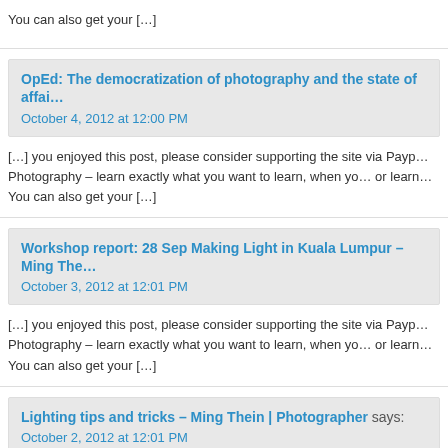You can also get your […]
OpEd: The democratization of photography and the state of affai…
October 4, 2012 at 12:00 PM
[…] you enjoyed this post, please consider supporting the site via Payp… Photography – learn exactly what you want to learn, when yo… or learn… You can also get your […]
Workshop report: 28 Sep Making Light in Kuala Lumpur – Ming The…
October 3, 2012 at 12:01 PM
[…] you enjoyed this post, please consider supporting the site via Payp… Photography – learn exactly what you want to learn, when yo… or learn… You can also get your […]
Lighting tips and tricks – Ming Thein | Photographer says:
October 2, 2012 at 12:01 PM